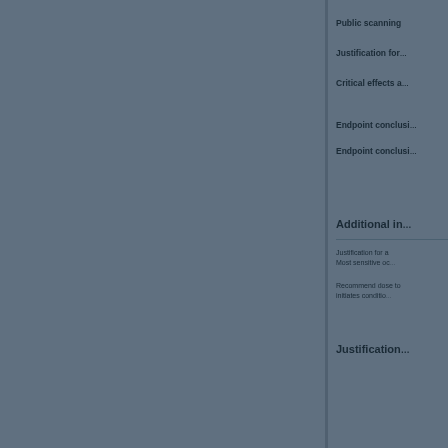Public scanning
Justification for
Critical effects a
Endpoint conclusi
Endpoint conclusi
Additional in
Justification for a Most sensitive oc
Recommend dose to initiates conditio
Justification